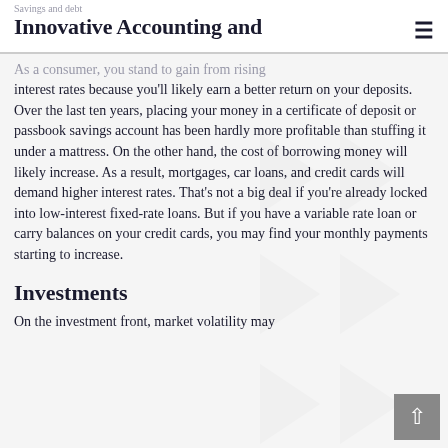Savings and debt — Innovative Accounting and
As a consumer, you stand to gain from rising interest rates because you'll likely earn a better return on your deposits. Over the last ten years, placing your money in a certificate of deposit or passbook savings account has been hardly more profitable than stuffing it under a mattress. On the other hand, the cost of borrowing money will likely increase. As a result, mortgages, car loans, and credit cards will demand higher interest rates. That's not a big deal if you're already locked into low-interest fixed-rate loans. But if you have a variable rate loan or carry balances on your credit cards, you may find your monthly payments starting to increase.
Investments
On the investment front, market volatility may